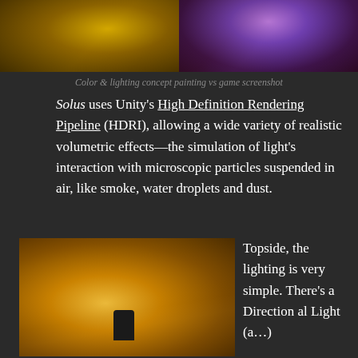[Figure (photo): Two game screenshots side by side: left shows a yellow/golden lit scene, right shows a purple/blue lit scene with fabric or curtains]
Color & lighting concept painting vs game screenshot
Solus uses Unity's High Definition Rendering Pipeline (HDRI), allowing a wide variety of realistic volumetric effects—the simulation of light's interaction with microscopic particles suspended in air, like smoke, water droplets and dust.
[Figure (photo): A desert/sandy landscape scene with warm golden lighting, showing a small silhouetted figure standing on sand dunes with bright sun creating dramatic shadows and light effects.]
Topside, the lighting is very simple. There's a Directional Light (a…)